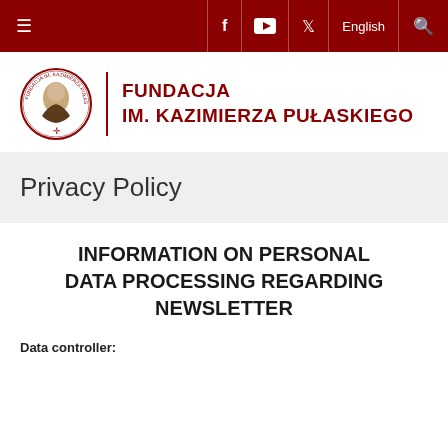≡  f  yt  𝕏  English  🔍
[Figure (logo): Fundacja im. Kazimierza Pułaskiego logo — circular emblem with portrait on left, vertical red divider, red bold text FUNDACJA IM. KAZIMIERZA PUŁASKIEGO on right]
Privacy Policy
INFORMATION ON PERSONAL DATA PROCESSING REGARDING NEWSLETTER
Data controller: